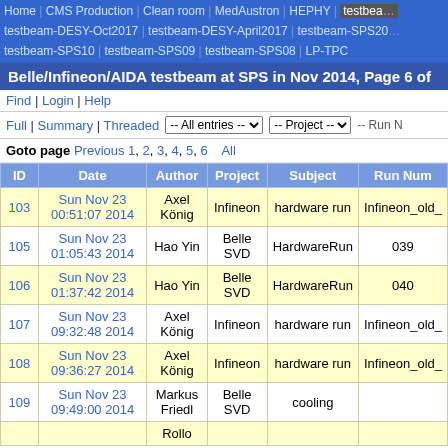Home | CMS Production | Clean room | MedAustron | HEPHY | testbeam-DESY-Oct2017 | testbeam-DESY-April2017 | testbeam-SPS2017 | testbeam-SPS10 | testbeam-SPS09 | testbeam-SPS08 | LP-TPC
Belle/Infineon/AIDA testbeam at SPS in Nov 2014, Page 6 of
Find | Login | Help
Full | Summary | Threaded  -- All entries -- ▼  -- Project -- ▼  -- Run N
Goto page Previous 1, 2, 3, 4, 5, 6  All
| ID | Date | Author | Project | Subject | Run Num |
| --- | --- | --- | --- | --- | --- |
| 103 | Sun Nov 23 00:51:07 2014 | Axel König | Infineon | hardware run | Infineon_old_ |
| 105 | Sun Nov 23 01:05:43 2014 | Hao Yin | Belle SVD | HardwareRun | 039 |
| 106 | Sun Nov 23 01:37:42 2014 | Hao Yin | Belle SVD | HardwareRun | 040 |
| 107 | Sun Nov 23 09:32:48 2014 | Axel König | Infineon | hardware run | Infineon_old_ |
| 108 | Sun Nov 23 09:36:27 2014 | Axel König | Infineon | hardware run | Infineon_old_ |
| 109 | Sun Nov 23 09:49:00 2014 | Markus Friedl | Belle SVD | cooling |  |